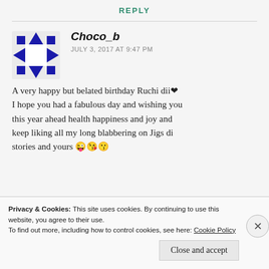REPLY
Choco_b
JULY 3, 2017 AT 9:47 PM
A very happy but belated birthday Ruchi dii❤ I hope you had a fabulous day and wishing you this year ahead health happiness and joy and keep liking all my long blabbering on Jigs di stories and yours 😜😘😘
Privacy & Cookies: This site uses cookies. By continuing to use this website, you agree to their use.
To find out more, including how to control cookies, see here: Cookie Policy
Close and accept